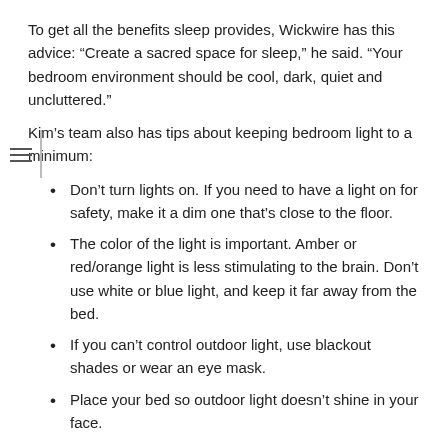To get all the benefits sleep provides, Wickwire has this advice: “Create a sacred space for sleep,” he said. “Your bedroom environment should be cool, dark, quiet and uncluttered.”
Kim’s team also has tips about keeping bedroom light to a minimum:
Don’t turn lights on. If you need to have a light on for safety, make it a dim one that’s close to the floor.
The color of the light is important. Amber or red/orange light is less stimulating to the brain. Don’t use white or blue light, and keep it far away from the bed.
If you can’t control outdoor light, use blackout shades or wear an eye mask.
Place your bed so outdoor light doesn’t shine in your face.